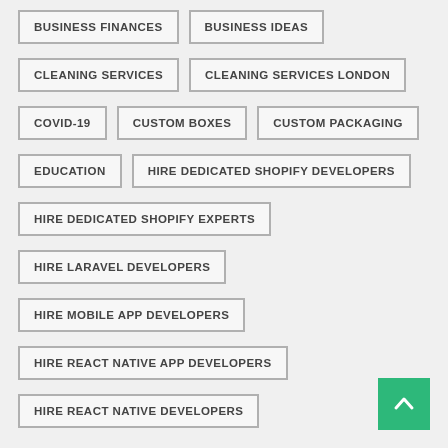BUSINESS FINANCES
BUSINESS IDEAS
CLEANING SERVICES
CLEANING SERVICES LONDON
COVID-19
CUSTOM BOXES
CUSTOM PACKAGING
EDUCATION
HIRE DEDICATED SHOPIFY DEVELOPERS
HIRE DEDICATED SHOPIFY EXPERTS
HIRE LARAVEL DEVELOPERS
HIRE MOBILE APP DEVELOPERS
HIRE REACT NATIVE APP DEVELOPERS
HIRE REACT NATIVE DEVELOPERS